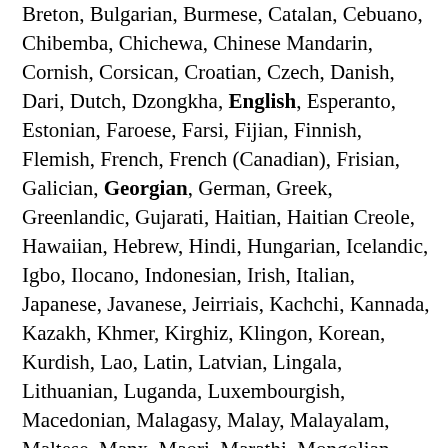Breton, Bulgarian, Burmese, Catalan, Cebuano, Chibemba, Chichewa, Chinese Mandarin, Cornish, Corsican, Croatian, Czech, Danish, Dari, Dutch, Dzongkha, English, Esperanto, Estonian, Faroese, Farsi, Fijian, Finnish, Flemish, French, French (Canadian), Frisian, Galician, Georgian, German, Greek, Greenlandic, Gujarati, Haitian, Haitian Creole, Hawaiian, Hebrew, Hindi, Hungarian, Icelandic, Igbo, Ilocano, Indonesian, Irish, Italian, Japanese, Javanese, Jeirriais, Kachchi, Kannada, Kazakh, Khmer, Kirghiz, Klingon, Korean, Kurdish, Lao, Latin, Latvian, Lingala, Lithuanian, Luganda, Luxembourgish, Macedonian, Malagasy, Malay, Malayalam, Maltese, Manx, Maori, Marathi, Mongolian, Navajo, Nepali, Norwegian, Occitan, Oriya, Oromo, Papiamento, Pashto, Pidgin, Polish, Portuguese, Portuguese (Brazilian), Provencial, Punjabi, Quechua, Romanian, Romansh, Russian, Saami, Samoan, Sardinian, Scots, Scottish Gaelic, Serbian, Sesotho (Southern), Shona,